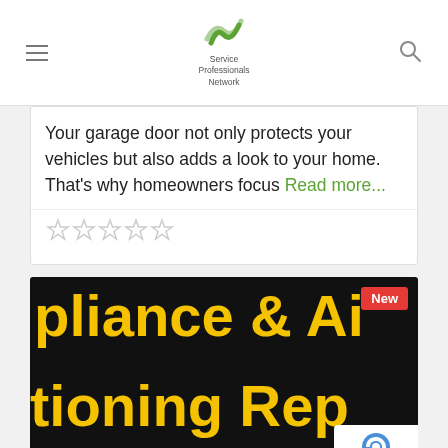Service Professionals Network
Your garage door not only protects your vehicles but also adds a look to your home. That’s why homeowners focus Read more...
[Figure (other): Five empty star rating icons]
[Figure (photo): Dark background image with large yellow bold text reading 'pliance & Ai' and 'tioning Rep' with a 'New' red badge in top right corner and 'Appliances & Repair' subtitle at bottom]